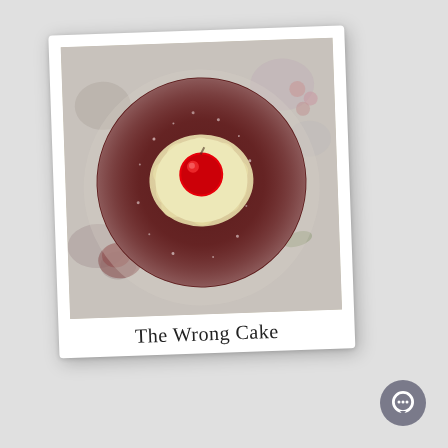[Figure (photo): A polaroid-style photo of a red velvet cupcake viewed from above, with a cream/frosting center and a bright red cherry on top, sitting on a floral patterned surface. The polaroid has a handwritten-style caption 'The Wrong Cake' below the photo.]
The Wrong Cake